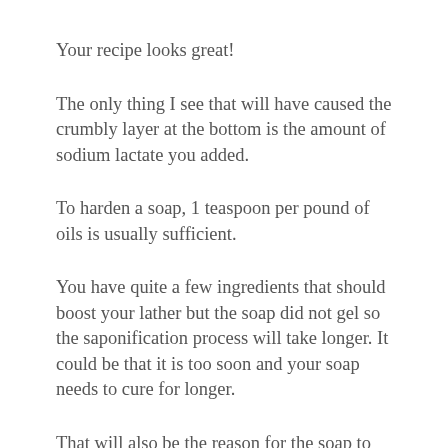Your recipe looks great!
The only thing I see that will have caused the crumbly layer at the bottom is the amount of sodium lactate you added.
To harden a soap, 1 teaspoon per pound of oils is usually sufficient.
You have quite a few ingredients that should boost your lather but the soap did not gel so the saponification process will take longer. It could be that it is too soon and your soap needs to cure for longer.
That will also be the reason for the soap to be drying. Cold process soap should cure for 4 - 6 weeks before using it.